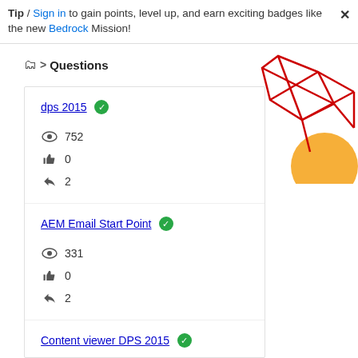Tip / Sign in to gain points, level up, and earn exciting badges like the new Bedrock Mission!
Questions
[Figure (illustration): Decorative geometric graphic with red lines forming polygons and an orange circle, top-right corner]
dps 2015 [resolved] — 752 views, 0 likes, 2 answers
AEM Email Start Point [resolved] — 331 views, 0 likes, 2 answers
Content viewer DPS 2015 [resolved]